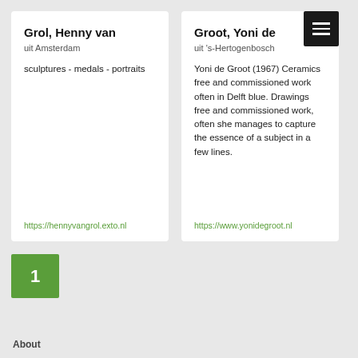Grol, Henny van
uit Amsterdam
sculptures - medals - portraits
https://hennyvangrol.exto.nl
Groot, Yoni de
uit 's-Hertogenbosch
Yoni de Groot (1967) Ceramics free and commissioned work often in Delft blue. Drawings free and commissioned work, often she manages to capture the essence of a subject in a few lines.
https://www.yonidegroot.nl
1
About